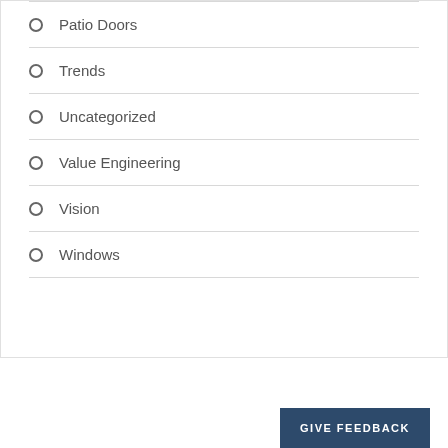Patio Doors
Trends
Uncategorized
Value Engineering
Vision
Windows
GIVE FEEDBACK